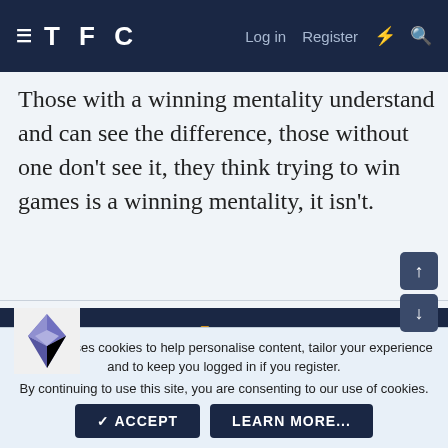TFC  Log in  Register
Those with a winning mentality understand and can see the difference, those without one don't see it, they think trying to win games is a winning mentality, it isn't.
Beats1989 🏆
13 Jul 2019  #2,474
Spursidol said: ↑
Such a difficult analysis to make - quite possibly all those things, but I
This site uses cookies to help personalise content, tailor your experience and to keep you logged in if you register.
By continuing to use this site, you are consenting to our use of cookies.
✓ ACCEPT    LEARN MORE...